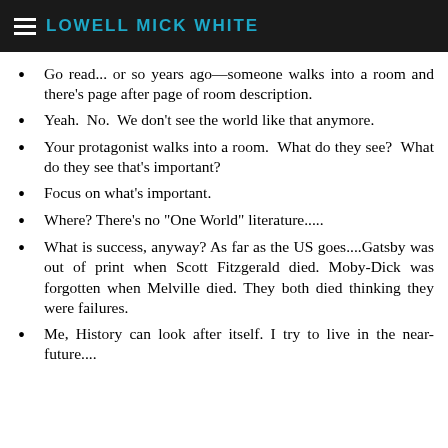LOWELL MICK WHITE
Go read... [or so years ago—someone walks into a room and there's page after page of room description.
Yeah. No. We don't see the world like that anymore.
Your protagonist walks into a room. What do they see? What do they see that's important?
Focus on what's important.
Where? There's no "One World" literature.....
What is success, anyway? As far as the US goes....Gatsby was out of print when Scott Fitzgerald died. Moby-Dick was forgotten when Melville died. They both died thinking they were failures.
Me, History can look after itself. I try to live in the near-future....